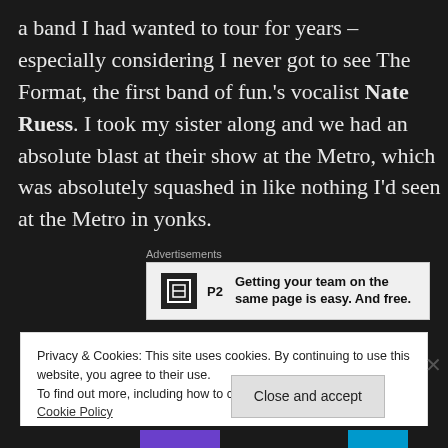a band I had wanted to tour for years – especially considering I never got to see The Format, the first band of fun.'s vocalist Nate Ruess. I took my sister along and we had an absolute blast at their show at the Metro, which was absolutely squashed in like nothing I'd seen at the Metro in yonks.
Advertisements
[Figure (other): Advertisement banner for P2 product: logo icon with text 'Getting your team on the same page is easy. And free.']
Privacy & Cookies: This site uses cookies. By continuing to use this website, you agree to their use.
To find out more, including how to control cookies, see here: Cookie Policy